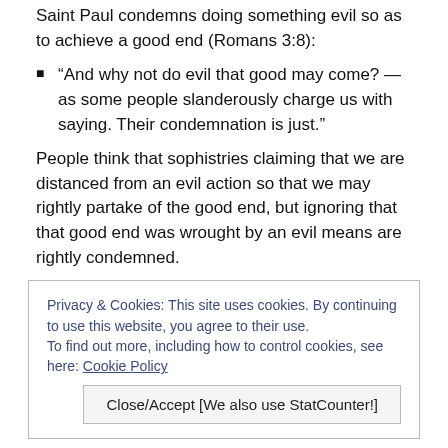Saint Paul condemns doing something evil so as to achieve a good end (Romans 3:8):
“And why not do evil that good may come? — as some people slanderously charge us with saying. Their condemnation is just.”
People think that sophistries claiming that we are distanced from an evil action so that we may rightly partake of the good end, but ignoring that that good end was wrought by an evil means are rightly condemned.
Privacy & Cookies: This site uses cookies. By continuing to use this website, you agree to their use. To find out more, including how to control cookies, see here: Cookie Policy
Close/Accept [We also use StatCounter!]
to be healthy, tested to make sure all their organs were